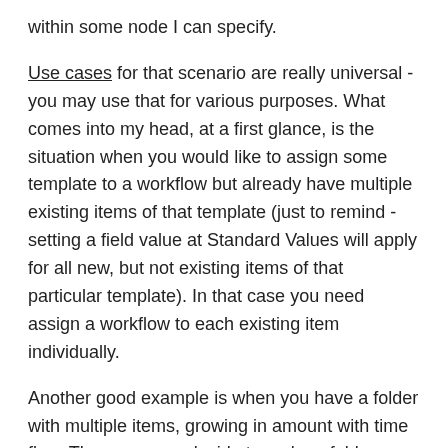within some node I can specify.
Use cases for that scenario are really universal - you may use that for various purposes. What comes into my head, at a first glance, is the situation when you would like to assign some template to a workflow but already have multiple existing items of that template (just to remind - setting a field value at Standard Values will apply for all new, but not existing items of that particular template). In that case you need assign a workflow to each existing item individually.
Another good example is when you have a folder with multiple items, growing in amount with time flow. Then you may decide to make a folder bucketable, but those existing items require to set a Bucketable checkbox for each existing item individually. I have described that case in one of my previous blog posts - "Understanding Buckets: adding new items to buckets correctly". So let's pick up second case and try to solve it.